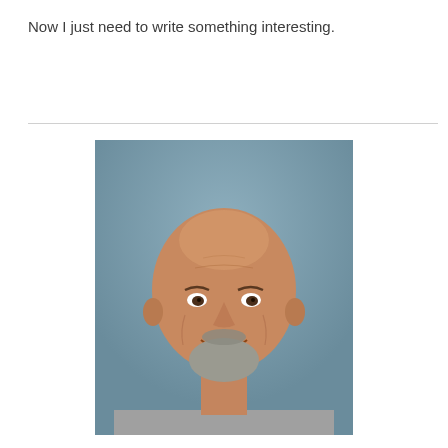Now I just need to write something interesting.
[Figure (photo): Portrait photo of a smiling bald man with a goatee beard, wearing a grey t-shirt, photographed against a blue-grey background.]